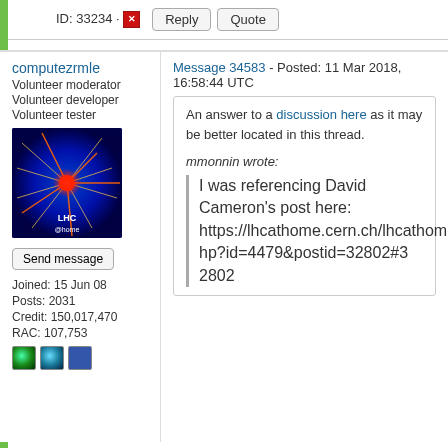ID: 33234 · [x]  Reply  Quote
computezrmle
Volunteer moderator
Volunteer developer
Volunteer tester
[Figure (photo): LHC@home avatar showing particle collision on blue background with LHC@home logo]
Send message
Joined: 15 Jun 08
Posts: 2031
Credit: 150,017,470
RAC: 107,753
Message 34583 - Posted: 11 Mar 2018, 16:58:44 UTC
An answer to a discussion here as it may be better located in this thread.
mmonnin wrote:
I was referencing David Cameron's post here: https://lhcathome.cern.ch/lhcathome/forum_thread.php?id=4479&postid=32802#32802